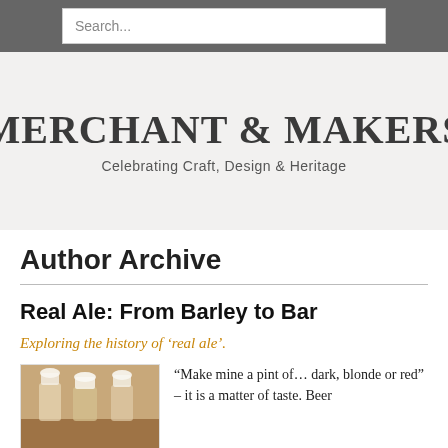Search...
MERCHANT & MAKERS
Celebrating Craft, Design & Heritage
Author Archive
Real Ale: From Barley to Bar
Exploring the history of 'real ale'.
[Figure (photo): Photo of beer tap handles or glassware on a warm-toned background]
“Make mine a pint of… dark, blonde or red” – it is a matter of taste. Beer